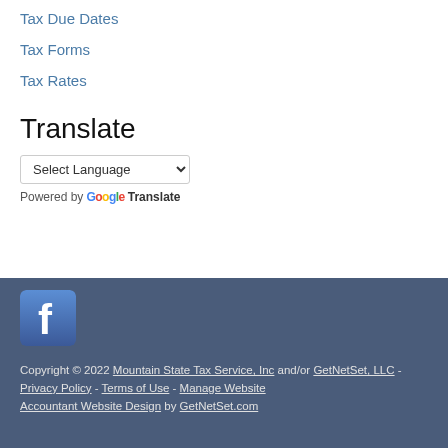Tax Due Dates
Tax Forms
Tax Rates
Translate
Select Language dropdown, Powered by Google Translate
[Figure (logo): Facebook logo icon, blue background with white 'f']
Copyright © 2022 Mountain State Tax Service, Inc and/or GetNetSet, LLC - Privacy Policy - Terms of Use - Manage Website Accountant Website Design by GetNetSet.com